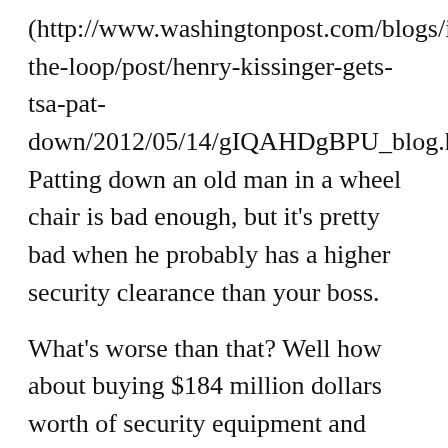(http://www.washingtonpost.com/blogs/in-the-loop/post/henry-kissinger-gets-tsa-pat-down/2012/05/14/gIQAHDgBPU_blog.html). Patting down an old man in a wheel chair is bad enough, but it’s pretty bad when he probably has a higher security clearance than your boss.
What’s worse than that? Well how about buying $184 million dollars worth of security equipment and instead of installing it you just store it in a warehouse in Texas? [According to the Washington Post, that’s exactly what is going on] (http://www.washingtonpost.com/local/trafficanequipment-gathering-dust-house-investigators-